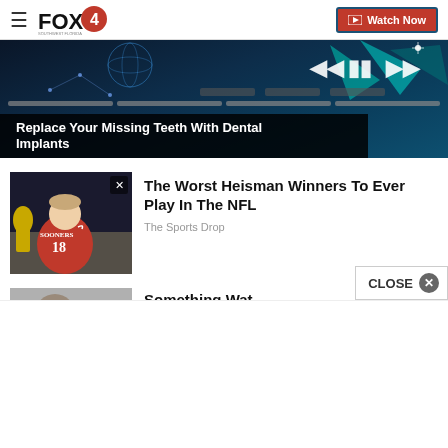FOX4 | Watch Now
[Figure (screenshot): FOX4 news website header with hamburger menu, FOX4 logo, and Watch Now button in red with blue border]
[Figure (screenshot): Dark blue banner ad with geometric/tech shapes and media player controls. Caption overlay: Replace Your Missing Teeth With Dental Implants]
Replace Your Missing Teeth With Dental Implants
[Figure (photo): Football player in red Oklahoma Sooners jersey #18 posing with the Heisman Trophy]
The Worst Heisman Winners To Ever Play In The NFL
The Sports Drop
[Figure (photo): Partial thumbnail of second article]
Something Wat...